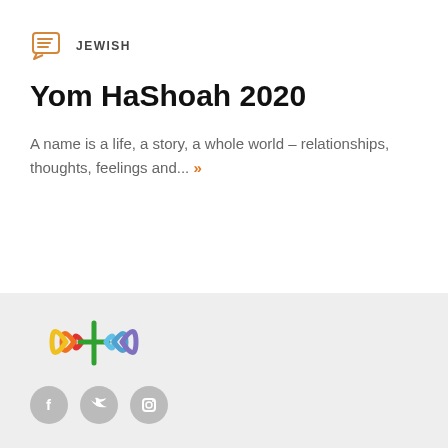JEWISH
Yom HaShoah 2020
A name is a life, a story, a whole world – relationships, thoughts, feelings and... »
[Figure (logo): Colorful logo with curved lines on left and right of a cross symbol, resembling a broadcasting or signal icon with multiple colors: red, orange, yellow, green, blue, purple]
[Figure (logo): Three social media icon circles: Facebook, Twitter, Instagram]